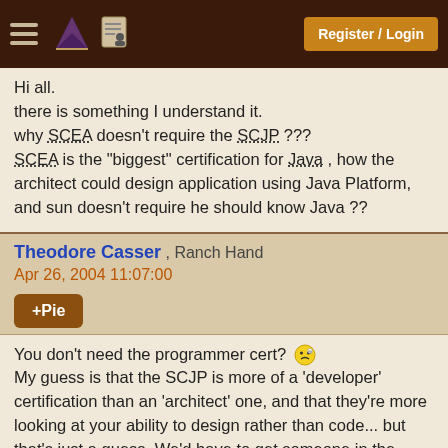Register / Login
Hi all.
there is something I understand it.
why SCEA doesn't require the SCJP ???
SCEA is the "biggest" certification for Java , how the architect could design application using Java Platform, and sun doesn't require he should know Java ??
Theodore Casser , Ranch Hand
Apr 26, 2004 11:07:00
+Pie
You don't need the programmer cert? 😐
My guess is that the SCJP is more of a 'developer' certification than an 'architect' one, and that they're more looking at your ability to design rather than code... but that's just a guess. We'd have to get someone in the know to answer more fully.
[edited to clarify my wording]
[ April 26, 2004: Message edited by: Theodore Casser ]